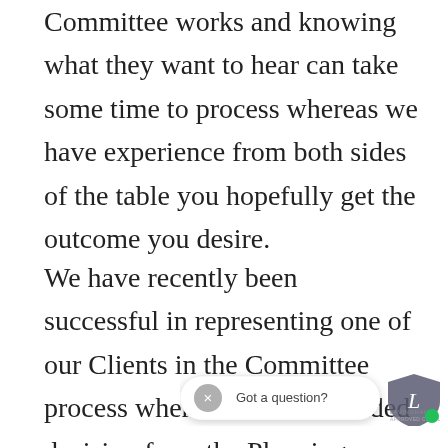Committee works and knowing what they want to hear can take some time to process whereas we have experience from both sides of the table you hopefully get the outcome you desire.
We have recently been successful in representing one of our Clients in the Committee process where the recommended decision from the Planning Officer was to refuse the application, but by standing and speaking for our Client we were able to re...
[Figure (screenshot): Chat widget overlay showing a close button (×), the text 'Got a question?', and the Lavingham logo with a green online indicator dot.]